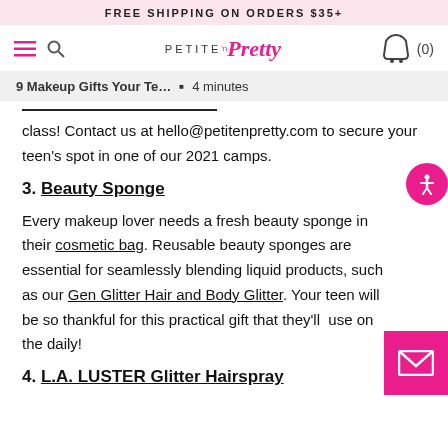FREE SHIPPING ON ORDERS $35+
[Figure (logo): Petite 'n Pretty logo with hamburger menu, search icon, and shopping bag icon with (0)]
9 Makeup Gifts Your Te... · 4 minutes
class! Contact us at hello@petitenpretty.com to secure your teen's spot in one of our 2021 camps.
3. Beauty Sponge
Every makeup lover needs a fresh beauty sponge in their cosmetic bag. Reusable beauty sponges are essential for seamlessly blending liquid products, such as our Gen Glitter Hair and Body Glitter. Your teen will be so thankful for this practical gift that they'll  use on the daily!
4. L.A. LUSTER Glitter Hairspray